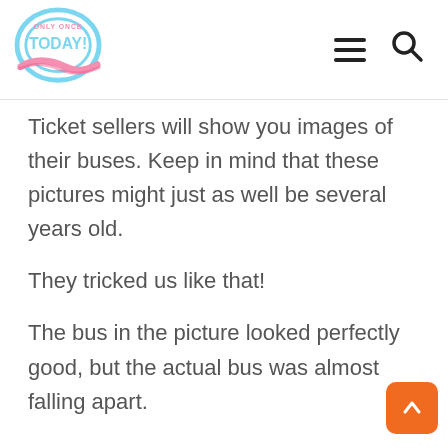Only Once Today — navigation header with logo, hamburger menu, and search icon
Ticket sellers will show you images of their buses. Keep in mind that these pictures might just as well be several years old.
They tricked us like that!
The bus in the picture looked perfectly good, but the actual bus was almost falling apart.